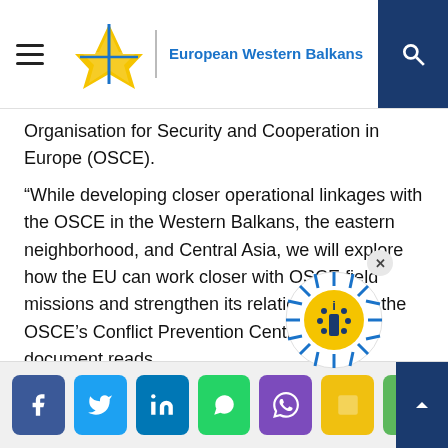European Western Balkans
Organisation for Security and Cooperation in Europe (OSCE).
“While developing closer operational linkages with the OSCE in the Western Balkans, the eastern neighborhood, and Central Asia, we will explore how the EU can work closer with OSCE field missions and strengthen its relationship with the OSCE’s Conflict Prevention Centre”, the document reads.
COUNCIL OF THE EU
DEFENCE
JOSEP BORRELL
SECURITY
STRATEGIC COMPASSS